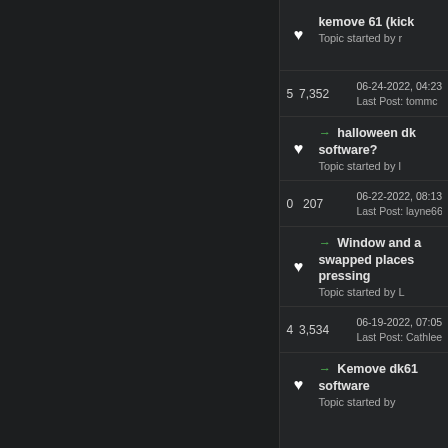kemove 61 (kick — Topic started by r
5  7,352  06-24-2022, 04:23  Last Post: tommc
→ halloween dk software? — Topic started by l
0  207  06-22-2022, 08:13  Last Post: layne66
→ Window and swapped places pressing — Topic started by L
4  3,534  06-19-2022, 07:05  Last Post: Cathlee
→ Kemove dk61 software — Topic started by